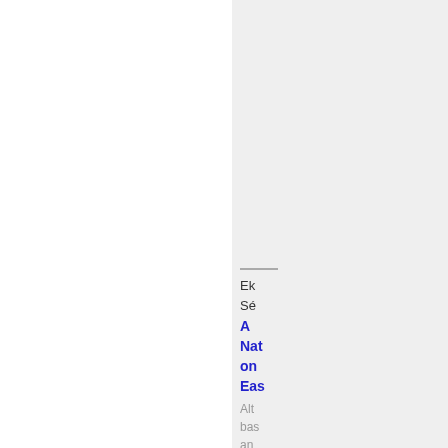Ek
Sé
A Nat on Eas
Alt bas an
Alte Uni Fra
NS
Stat
exec
by
M67
Rifle
Le
Ri